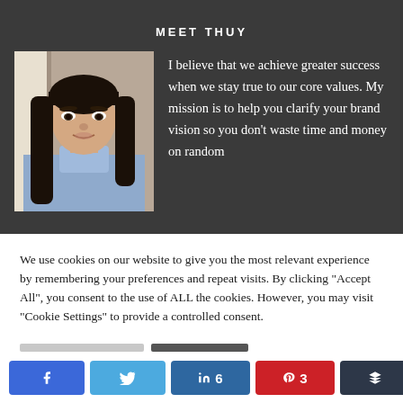MEET THUY
[Figure (photo): Portrait photo of Thuy, a woman with long dark hair wearing a light blue shirt, photographed indoors]
I believe that we achieve greater success when we stay true to our core values. My mission is to help you clarify your brand vision so you don't waste time and money on random
We use cookies on our website to give you the most relevant experience by remembering your preferences and repeat visits. By clicking "Accept All", you consent to the use of ALL the cookies. However, you may visit "Cookie Settings" to provide a controlled consent.